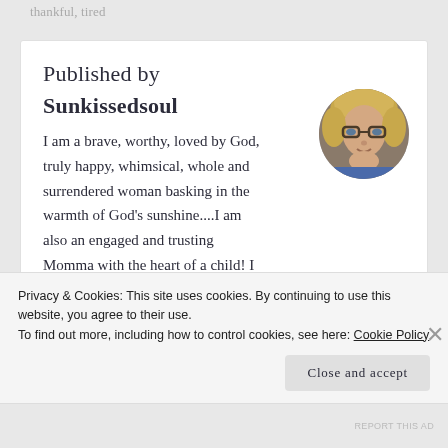thankful, tired
Published by
Sunkissedsoul
[Figure (photo): Circular avatar photo of a blonde woman with glasses, wearing a blue top, resting her chin on her hand]
I am a brave, worthy, loved by God, truly happy, whimsical, whole and surrendered woman basking in the warmth of God's sunshine....I am also an engaged and trusting Momma with the heart of a child! I
Privacy & Cookies: This site uses cookies. By continuing to use this website, you agree to their use.
To find out more, including how to control cookies, see here: Cookie Policy
Close and accept